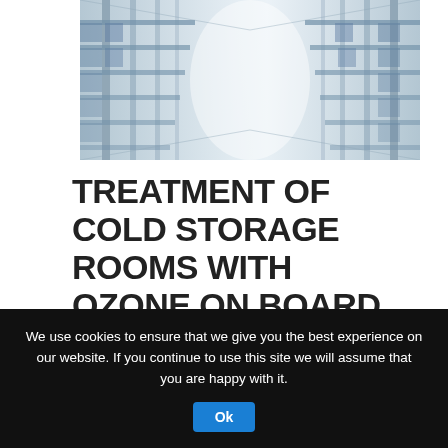[Figure (photo): Cold storage room with metal shelving racks receding into the distance, blue-tinted lighting.]
TREATMENT OF COLD STORAGE ROOMS WITH OZONE ON BOARD YACHTS
29 April 2022 | ♡ 0 | Share
Treatment of cold storage rooms with Ozone
We use cookies to ensure that we give you the best experience on our website. If you continue to use this site we will assume that you are happy with it. Ok